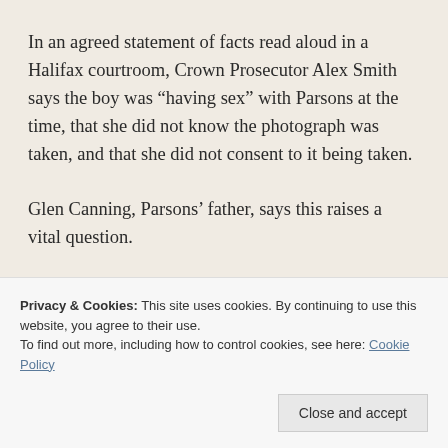In an agreed statement of facts read aloud in a Halifax courtroom, Crown Prosecutor Alex Smith says the boy was “having sex” with Parsons at the time, that she did not know the photograph was taken, and that she did not consent to it being taken.
Glen Canning, Parsons’ father, says this raises a vital question.
“They can go on about how Rehtaeh didn’t give consent to this photograph being taken yet for
Privacy & Cookies: This site uses cookies. By continuing to use this website, you agree to their use.
To find out more, including how to control cookies, see here: Cookie Policy